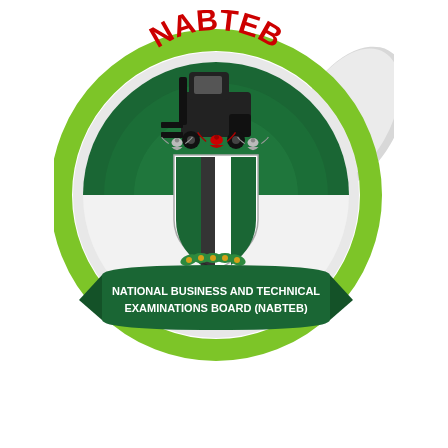[Figure (logo): NABTEB circular sticker logo. A round badge with a green and light gray gradient border ring, a white and silver inner circle, a dark green filled upper half circle, a Nigerian coat of arms shield in the center, black industrial/technical equipment silhouette at top, red arched text 'NABTEB' at the top, a dark green banner ribbon below the coat of arms reading 'NATIONAL BUSINESS AND TECHNICAL EXAMINATIONS BOARD (NABTEB)' in white text. The badge has a folded corner peel effect on the right side suggesting a sticker.]